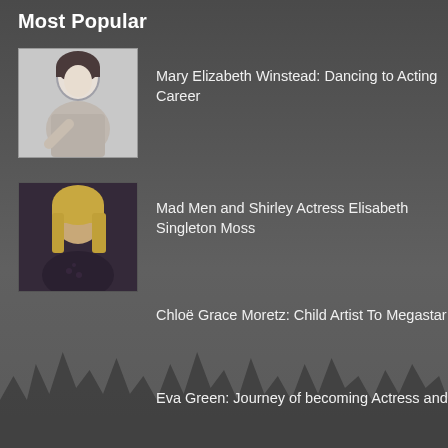Most Popular
Mary Elizabeth Winstead: Dancing to Acting Career
Mad Men and Shirley Actress Elisabeth Singleton Moss
Chloë Grace Moretz: Child Artist To Megastar
Eva Green: Journey of becoming Actress and Model